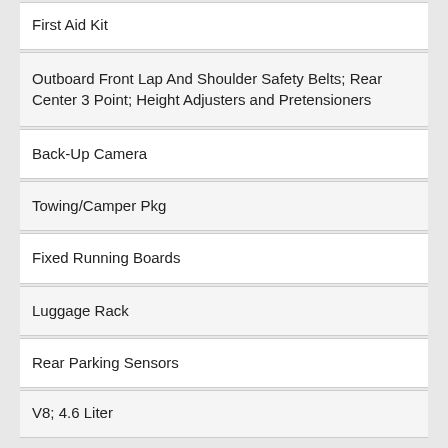First Aid Kit
Outboard Front Lap And Shoulder Safety Belts; Rear Center 3 Point; Height Adjusters and Pretensioners
Back-Up Camera
Towing/Camper Pkg
Fixed Running Boards
Luggage Rack
Rear Parking Sensors
V8; 4.6 Liter